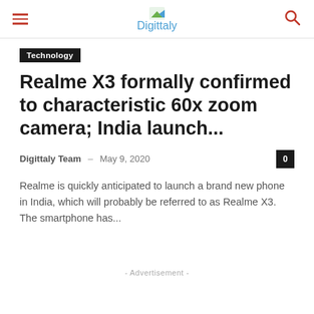Digittaly
Technology
Realme X3 formally confirmed to characteristic 60x zoom camera; India launch...
Digittaly Team – May 9, 2020
Realme is quickly anticipated to launch a brand new phone in India, which will probably be referred to as Realme X3. The smartphone has...
- Advertisement -